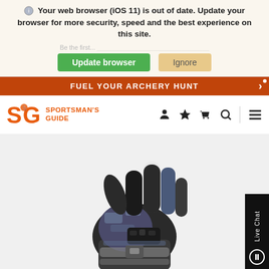Your web browser (iOS 11) is out of date. Update your browser for more security, speed and the best experience on this site.
Update browser | Ignore
FUEL YOUR ARCHERY HUNT
[Figure (logo): Sportsman's Guide logo with SG letters in orange and deer icon]
[Figure (photo): A hunting glove with camouflage and black pattern, shown palm facing viewer with fingers raised, featuring wrist strap buckle]
Live Chat